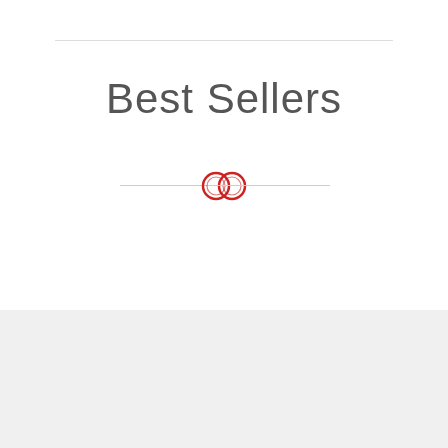Best Sellers
[Figure (logo): HELIPAL logo with tagline NEW GENERATION HELI EXPERT on black background strip]
HK$200